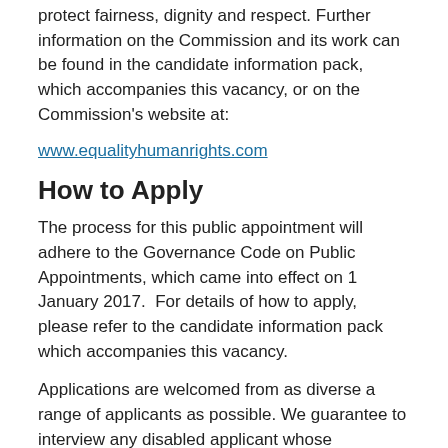protect fairness, dignity and respect. Further information on the Commission and its work can be found in the candidate information pack, which accompanies this vacancy, or on the Commission's website at:
www.equalityhumanrights.com
How to Apply
The process for this public appointment will adhere to the Governance Code on Public Appointments, which came into effect on 1 January 2017.  For details of how to apply, please refer to the candidate information pack which accompanies this vacancy.
Applications are welcomed from as diverse a range of applicants as possible. We guarantee to interview any disabled applicant whose application meets the minimum criteria for the post – this is known as Offering an Interview to Disabled People.
The closing date for applications is 5:00pm on Monday 03 August 2020.